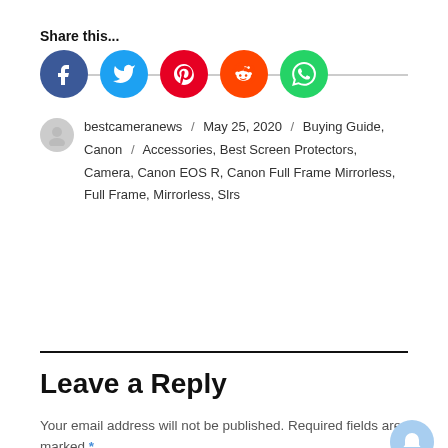Share this...
[Figure (infographic): Row of five social media share buttons (Facebook, Twitter, Pinterest, Reddit, WhatsApp) connected by a horizontal line]
bestcameranews / May 25, 2020 / Buying Guide, Canon / Accessories, Best Screen Protectors, Camera, Canon EOS R, Canon Full Frame Mirrorless, Full Frame, Mirrorless, Slrs
Leave a Reply
Your email address will not be published. Required fields are marked *